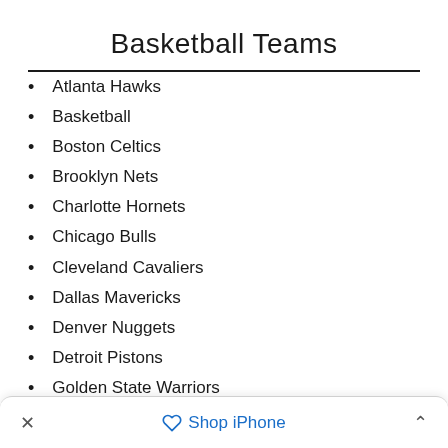Basketball Teams
Atlanta Hawks
Basketball
Boston Celtics
Brooklyn Nets
Charlotte Hornets
Chicago Bulls
Cleveland Cavaliers
Dallas Mavericks
Denver Nuggets
Detroit Pistons
Golden State Warriors
× Shop iPhone ˄